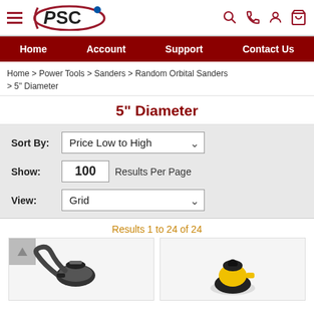PSC — Navigation header with logo, hamburger menu, and icons (search, phone, account, cart)
Home | Account | Support | Contact Us
Home > Power Tools > Sanders > Random Orbital Sanders > 5" Diameter
5" Diameter
Sort By: Price Low to High | Show: 100 Results Per Page | View: Grid
Results 1 to 24 of 24
[Figure (photo): Two random orbital sander product images in grid layout cards]
[Figure (photo): Yellow and black random orbital sander product image]